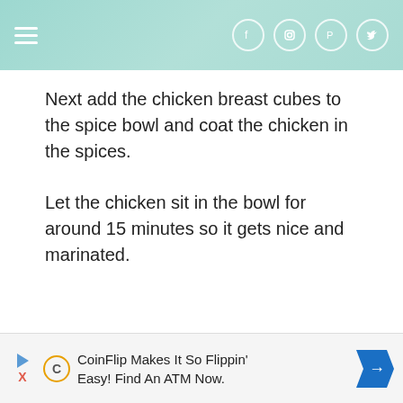Navigation header with hamburger menu and social icons (Facebook, Instagram, Pinterest, Twitter)
Next add the chicken breast cubes to the spice bowl and coat the chicken in the spices.
Let the chicken sit in the bowl for around 15 minutes so it gets nice and marinated.
CoinFlip Makes It So Flippin' Easy! Find An ATM Now.